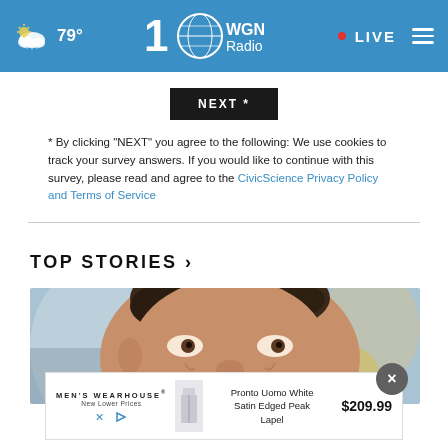WGN Radio 100 — 79° — LIVE
NEXT *
* By clicking "NEXT" you agree to the following: We use cookies to track your survey answers. If you would like to continue with this survey, please read and agree to the CivicScience Privacy Policy and Terms of Service
TOP STORIES ›
[Figure (photo): Close-up photo of a man's face, appears to be Elon Musk, looking upward slightly, with blurred background]
[Figure (infographic): Advertisement banner for Men's Wearhouse showing Pronto Uomo White Satin Edged Peak Lapel suit for $209.99]